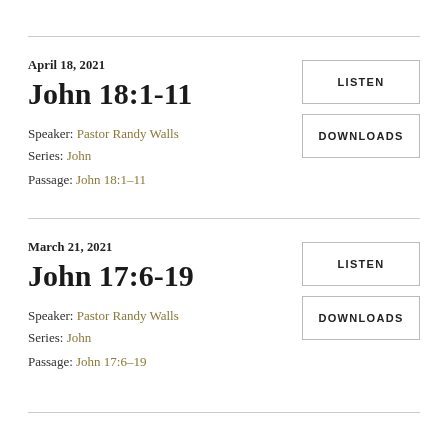April 18, 2021
John 18:1-11
Speaker: Pastor Randy Walls
Series: John
Passage: John 18:1–11
March 21, 2021
John 17:6-19
Speaker: Pastor Randy Walls
Series: John
Passage: John 17:6–19